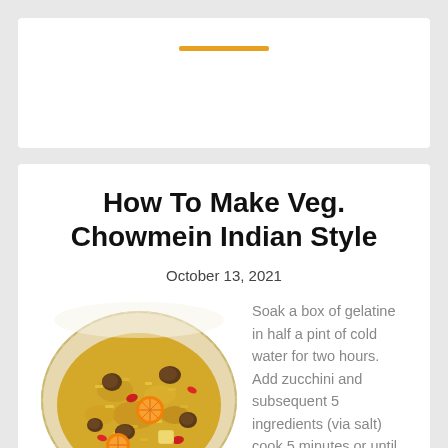[Figure (other): Decorative orange horizontal line divider on white card background]
How To Make Veg. Chowmein Indian Style
October 13, 2021
[Figure (photo): Photo of a plate of Veg. Chowmein Indian Style — yellow rice/noodles with pieces of meat, red peppers, orange citrus segments, pineapple chunks on a decorative plate]
Soak a box of gelatine in half a pint of cold water for two hours. Add zucchini and subsequent 5 ingredients (via salt) cook 5 minutes or until crisp-tender. These effortless-